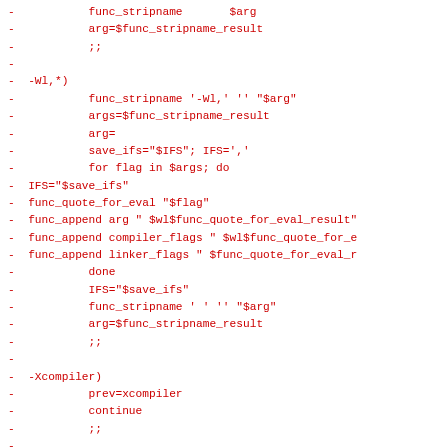code diff showing shell script fragment with func_stripname, -Wl,*, -Xcompiler, -Xlinker cases